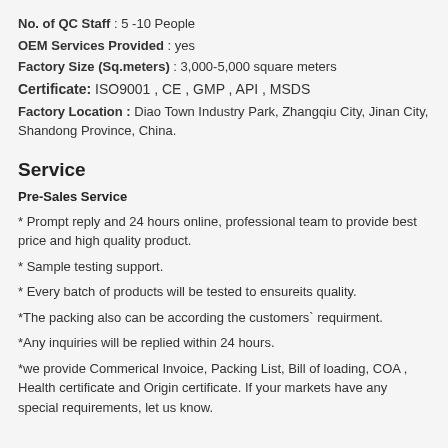No. of QC Staff : 5 -10 People
OEM Services Provided : yes
Factory Size (Sq.meters) : 3,000-5,000 square meters
Certificate: ISO9001 , CE , GMP , API , MSDS
Factory Location : Diao Town Industry Park, Zhangqiu City, Jinan City, Shandong Province, China.
Service
Pre-Sales Service
* Prompt reply and 24 hours online, professional team to provide best price and high quality product.
* Sample testing support.
* Every batch of products will be tested to ensureits quality.
*The packing also can be according the customers` requirment.
*Any inquiries will be replied within 24 hours.
*we provide Commerical Invoice, Packing List, Bill of loading, COA , Health certificate and Origin certificate. If your markets have any special requirements, let us know.